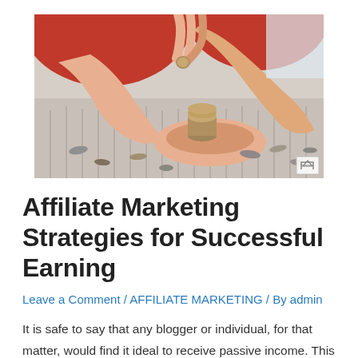[Figure (photo): Hands counting and holding coins on a striped surface; person in red top visible in background]
Affiliate Marketing Strategies for Successful Earning
Leave a Comment / AFFILIATE MARKETING / By admin
It is safe to say that any blogger or individual, for that matter, would find it ideal to receive passive income. This dream is achievable